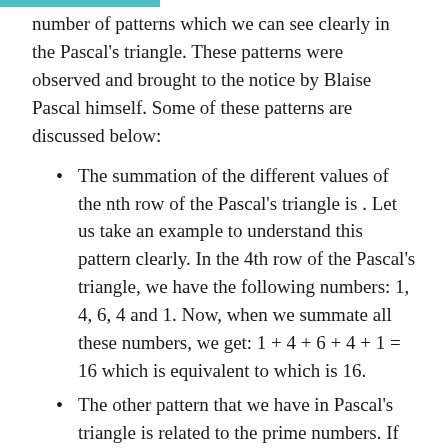number of patterns which we can see clearly in the Pascal's triangle. These patterns were observed and brought to the notice by Blaise Pascal himself. Some of these patterns are discussed below:
The summation of the different values of the nth row of the Pascal's triangle is . Let us take an example to understand this pattern clearly. In the 4th row of the Pascal's triangle, we have the following numbers: 1, 4, 6, 4 and 1. Now, when we summate all these numbers, we get: 1 + 4 + 6 + 4 + 1 = 16 which is equivalent to which is 16.
The other pattern that we have in Pascal's triangle is related to the prime numbers. If in a Pascal's triangle the